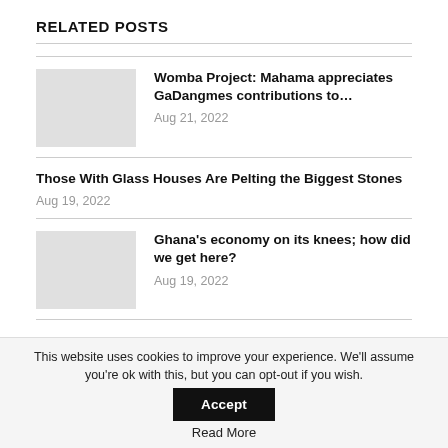RELATED POSTS
Womba Project: Mahama appreciates GaDangmes contributions to… — Aug 21, 2022
Those With Glass Houses Are Pelting the Biggest Stones — Aug 19, 2022
Ghana's economy on its knees; how did we get here? — Aug 19, 2022
Mr Bagbin earlier said that the House was not going to entertain any business from the Finance Ministry
This website uses cookies to improve your experience. We'll assume you're ok with this, but you can opt-out if you wish. Accept
Read More